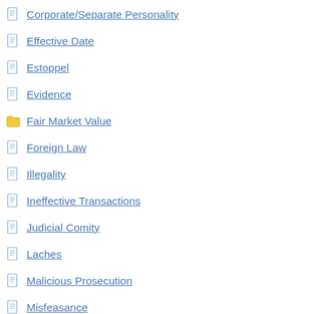Corporate/Separate Personality
Effective Date
Estoppel
Evidence
Fair Market Value
Foreign Law
Illegality
Ineffective Transactions
Judicial Comity
Laches
Malicious Prosecution
Misfeasance
Mistake
Negligence, Fiduciary Duty and Fault
Non Est Factum
Onus
Ownership
Payment & Receipt
Personality
Price Adjustment Clause
Purpose/Intention